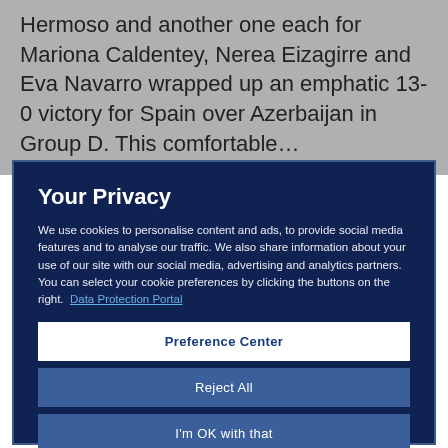Hermoso and another one each for Mariona Caldentey, Nerea Eizagirre and Eva Navarro wrapped up an emphatic 13-0 victory for Spain over Azerbaijan in Group D. This comfortable …
Your Privacy
We use cookies to personalise content and ads, to provide social media features and to analyse our traffic. We also share information about your use of our site with our social media, advertising and analytics partners. You can select your cookie preferences by clicking the buttons on the right.  Data Protection Portal
Preference Center
Reject All
I'm OK with that